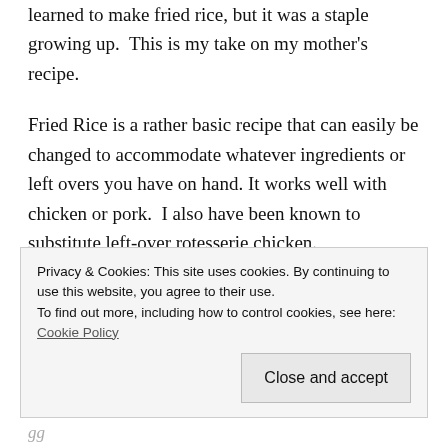learned to make fried rice, but it was a staple growing up.  This is my take on my mother's recipe.
Fried Rice is a rather basic recipe that can easily be changed to accommodate whatever ingredients or left overs you have on hand. It works well with chicken or pork.  I also have been known to substitute left-over rotesserie chicken.
Fried Rice
Privacy & Cookies: This site uses cookies. By continuing to use this website, you agree to their use.
To find out more, including how to control cookies, see here: Cookie Policy